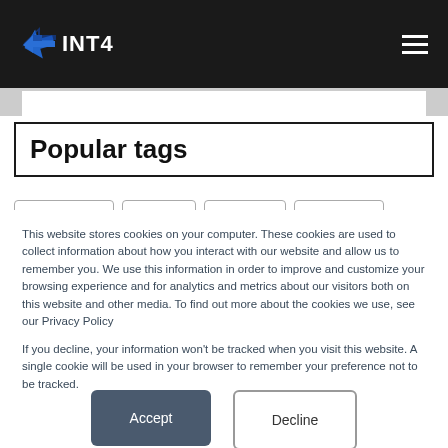INT4 navigation bar with logo and hamburger menu
Popular tags
This website stores cookies on your computer. These cookies are used to collect information about how you interact with our website and allow us to remember you. We use this information in order to improve and customize your browsing experience and for analytics and metrics about our visitors both on this website and other media. To find out more about the cookies we use, see our Privacy Policy
If you decline, your information won’t be tracked when you visit this website. A single cookie will be used in your browser to remember your preference not to be tracked.
Accept
Decline